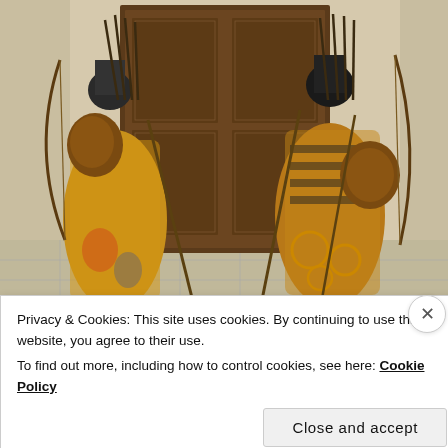[Figure (photo): Two figures in elaborate colorful Central Asian/Middle Eastern warrior robes and armor, carrying bows, arrows and spears, standing in front of a large ornately carved wooden door. The figures face away from the viewer. Stone tile floor visible.]
Privacy & Cookies: This site uses cookies. By continuing to use this website, you agree to their use.
To find out more, including how to control cookies, see here: Cookie Policy
Close and accept